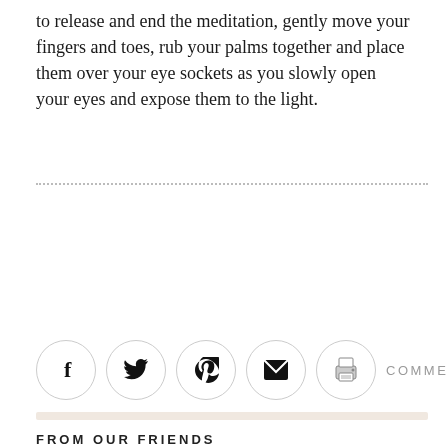to release and end the meditation, gently move your fingers and toes, rub your palms together and place them over your eye sockets as you slowly open your eyes and expose them to the light.
[Figure (other): Social sharing icons in circles: Facebook, Twitter, Pinterest, Email, Print; followed by COMMENT (0) label and a peach/tan horizontal bar]
FROM OUR FRIENDS
☐  Hide Comments